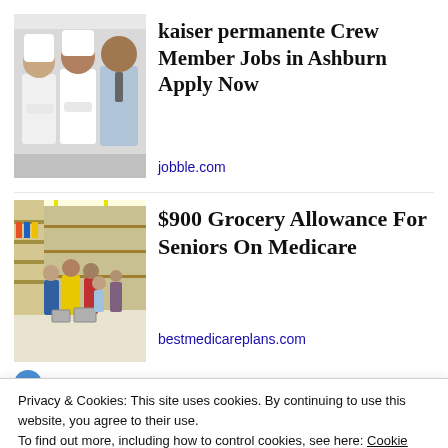[Figure (photo): Three restaurant workers/crew members posing together — two in white chef coats and one in a dress shirt and tie]
kaiser permanente Crew Member Jobs in Ashburn Apply Now
jobble.com
[Figure (photo): Busy grocery store aisle with shoppers and shopping carts]
$900 Grocery Allowance For Seniors On Medicare
bestmedicareplans.com
Privacy & Cookies: This site uses cookies. By continuing to use this website, you agree to their use.
To find out more, including how to control cookies, see here: Cookie Policy
Close and accept
Overlook: Picks 11–20